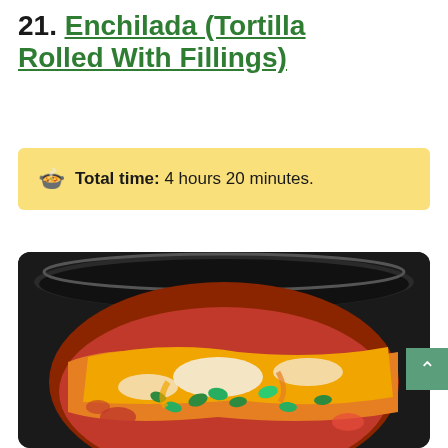21. Enchilada (Tortilla Rolled With Fillings)
Total time: 4 hours 20 minutes.
[Figure (photo): Photo of enchiladas in a black slow cooker/crock pot, topped with melted orange cheese and fresh cilantro, with a red 'Save' Pinterest button overlay in the top right corner of the image.]